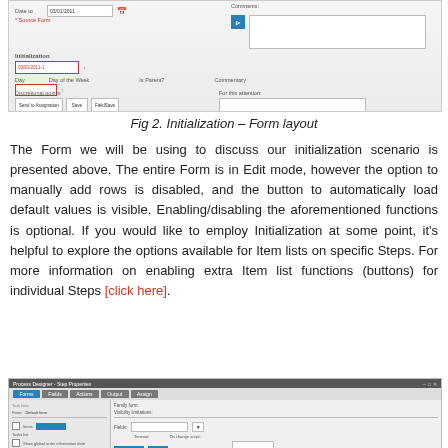[Figure (screenshot): Screenshot of a form layout showing initialization section with fields for Day, Day of the Week, Is Parent?, Commentary, and buttons for Send to Assignation, Save, and FieldSave. Red-bordered input fields visible. A comments section with a blue chat icon and text area on the right.]
Fig 2. Initialization – Form layout
The Form we will be using to discuss our initialization scenario is presented above. The entire Form is in Edit mode, however the option to manually add rows is disabled, and the button to automatically load default values is visible. Enabling/disabling the aforementioned functions is optional. If you would like to employ Initialization at some point, it's helpful to explore the options available for Item lists on specific Steps. For more information on enabling extra Item list functions (buttons) for individual Steps [click here].
[Figure (screenshot): Screenshot of a software interface showing a form configuration panel with tabs including Forms and other options, fields for Task Item, Form selector showing Default form, fields for Family form, Visibility limitations, Fields, and checkboxes for various global order information options.]